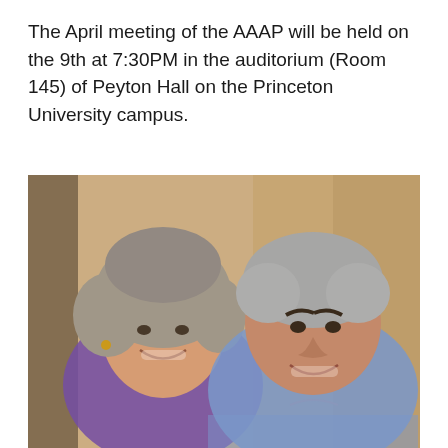The April meeting of the AAAP will be held on the 9th at 7:30PM in the auditorium (Room 145) of Peyton Hall on the Princeton University campus.
[Figure (photo): A photo of two people — an older woman with curly gray-brown hair wearing a purple top and gold earrings, smiling, and an older man with gray hair wearing a blue gingham/checkered shirt, smiling. They are posed together in front of a warm tan/sandy colored stone wall or column background.]